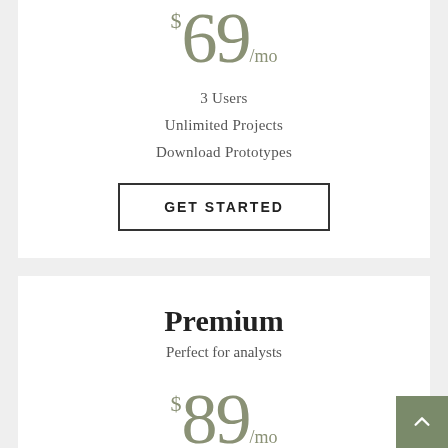$69/mo
3 Users
Unlimited Projects
Download Prototypes
Get Started
Premium
Perfect for analysts
$89/mo
5 Users